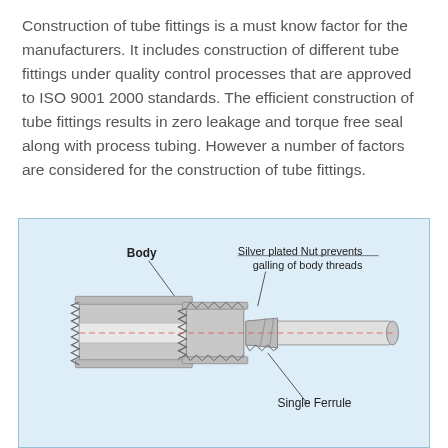Construction of tube fittings is a must know factor for the manufacturers. It includes construction of different tube fittings under quality control processes that are approved to ISO 9001 2000 standards. The efficient construction of tube fittings results in zero leakage and torque free seal along with process tubing. However a number of factors are considered for the construction of tube fittings.
[Figure (engineering-diagram): Cross-section diagram of a tube fitting assembly showing: Body (threaded component on left with zigzag thread pattern), Silver plated Nut prevents galling of body threads (labeled with line pointing to nut component), and Single Ferrule (labeled below, showing ferrule gripping the tube). The diagram shows how the body, nut, and single ferrule assemble around a tube, with center-line dashes indicating the tube axis.]